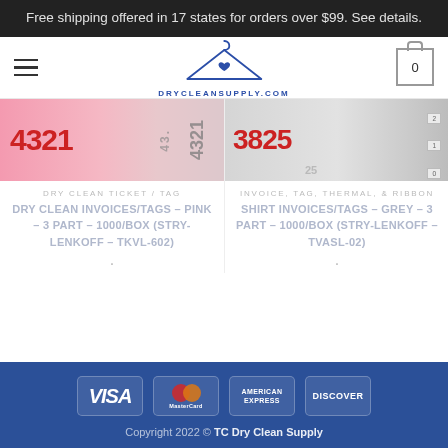Free shipping offered in 17 states for orders over $99. See details.
[Figure (logo): DryCleanSupply.com logo with hanger and heart]
[Figure (photo): Pink dry clean ticket showing number 4321]
DRY CLEAN TICKET / TAG
DRY CLEAN INVOICES/TAGS – PINK – 3 PART – 1000/BOX (STRY-LENKOFF – TKVL-602)
[Figure (photo): Grey shirt invoice/tag showing number 3825]
INVOICE, TAG, THERMAL, & RIBBON
SHIRT INVOICES/TAGS – GREY – 3 PART – 1000/BOX (STRY-LENKOFF – TVASL-02)
Copyright 2022 © TC Dry Clean Supply